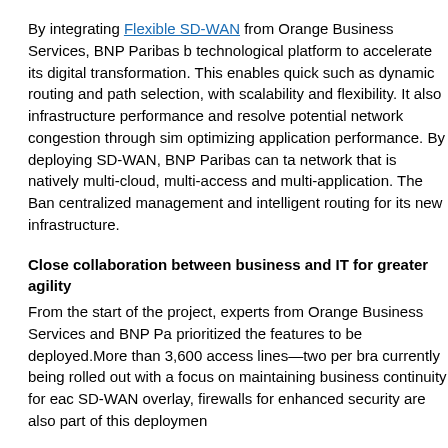By integrating Flexible SD-WAN from Orange Business Services, BNP Paribas b... technological platform to accelerate its digital transformation. This enables quick... such as dynamic routing and path selection, with scalability and flexibility. It also... infrastructure performance and resolve potential network congestion through sim... optimizing application performance. By deploying SD-WAN, BNP Paribas can ta... network that is natively multi-cloud, multi-access and multi-application. The Ban... centralized management and intelligent routing for its new infrastructure.
Close collaboration between business and IT for greater agility
From the start of the project, experts from Orange Business Services and BNP Pa... prioritized the features to be deployed.More than 3,600 access lines—two per bra... currently being rolled out with a focus on maintaining business continuity for eac... SD-WAN overlay, firewalls for enhanced security are also part of this deploymen...
“It was paramount for us to choose a partner who already had proven experience... solutions. Orange Business Services stood out as this trusted partner. In addition... demonstrated a great ability to understand our business challenges, and they kne... to-end digital transformation. This close collaboration between our teams from th... the keys to its success and to a smooth roll out,” said Bernard Gavgani, Chief Inf...